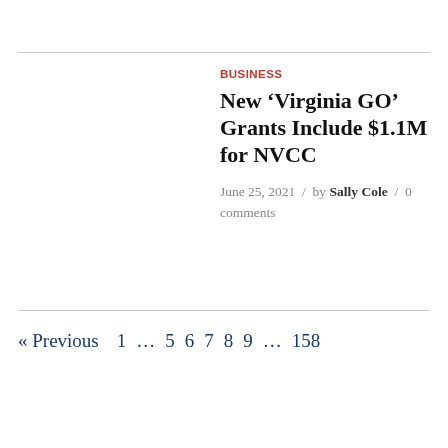BUSINESS
New ‘Virginia GO’ Grants Include $1.1M for NVCC
June 25, 2021 / by Sally Cole / 0 comments
« Previous 1 … 5 6 7 8 9 … 158
[Figure (screenshot): Infolinks advertisement bar with BELK ad: Denim all day. www.belk.com]